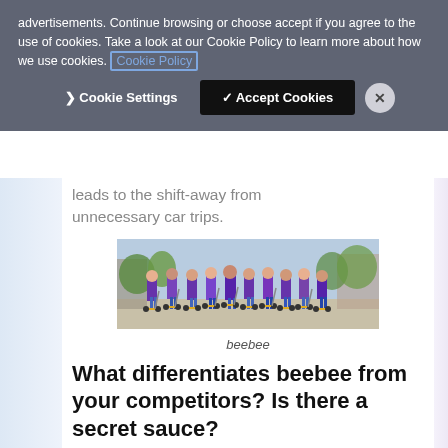advertisements. Continue browsing or choose accept if you agree to the use of cookies. Take a look at our Cookie Policy to learn more about how we use cookies. Cookie Policy
Cookie Settings  ✓ Accept Cookies  ×
leads to the shift-away from unnecessary car trips.
[Figure (photo): Group photo of approximately 10 people in purple/blue uniforms posing with electric scooters outdoors on a paved area with trees and buildings in the background.]
beebee
What differentiates beebee from your competitors? Is there a secret sauce?
No similar system exists in the SEE market. Our indirect competitors are